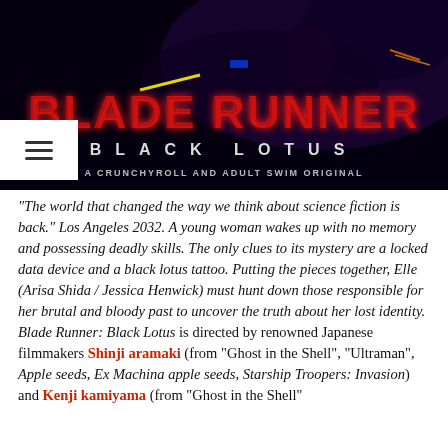[Figure (photo): Blade Runner: Black Lotus promotional image showing a neon-lit futuristic motorcycle scene with the title text 'BLADE RUNNER' in large red letters and 'BLACK LOTUS' in spaced white letters below, followed by 'A CRUNCHYROLL AND ADULT SWIM ORIGINAL']
“The world that changed the way we think about science fiction is back.” Los Angeles 2032. A young woman wakes up with no memory and possessing deadly skills. The only clues to its mystery are a locked data device and a black lotus tattoo. Putting the pieces together, Elle (Arisa Shida / Jessica Henwick) must hunt down those responsible for her brutal and bloody past to uncover the truth about her lost identity. Blade Runner: Black Lotus is directed by renowned Japanese filmmakers Shinji aramaki (from “Ghost in the Shell”, “Ultraman”, Apple seeds, Ex Machina apple seeds, Starship Troopers: Invasion) and Kenji kamiyama (from “Ghost in the Shell”